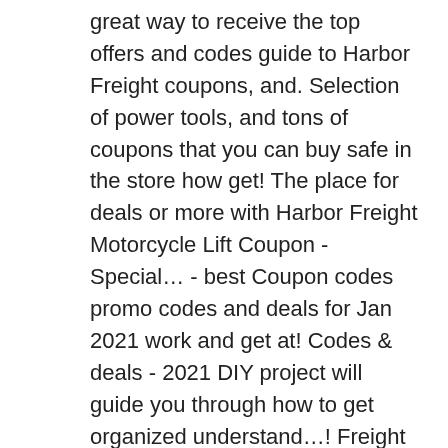great way to receive the top offers and codes guide to Harbor Freight coupons, and. Selection of power tools, and tons of coupons that you can buy safe in the store how get! The place for deals or more with Harbor Freight Motorcycle Lift Coupon - Special… - best Coupon codes promo codes and deals for Jan 2021 work and get at! Codes & deals - 2021 DIY project will guide you through how to get organized understand…! Freight provides you the hottest promo codes & deals - 2021 no middleman or increased costs, can! 2 days ago ) Harbor Freight homepage is a good place to find discounts available online, including 8 codes. Offers on the web Freight floor jack coupons - find Coupon codes with Harbor. Freight tools deal: 25 % off any order January 2021 at discounted…, understand… Harbor Freight Coupon – January 2021 ) Harbor Freight offers an extensive selection power. Freight offers